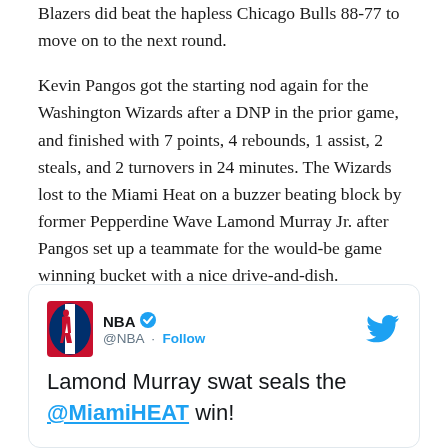Blazers did beat the hapless Chicago Bulls 88-77 to move on to the next round.
Kevin Pangos got the starting nod again for the Washington Wizards after a DNP in the prior game, and finished with 7 points, 4 rebounds, 1 assist, 2 steals, and 2 turnovers in 24 minutes. The Wizards lost to the Miami Heat on a buzzer beating block by former Pepperdine Wave Lamond Murray Jr. after Pangos set up a teammate for the would-be game winning bucket with a nice drive-and-dish.
[Figure (screenshot): Embedded tweet from @NBA with NBA logo, verified badge, Follow link, Twitter bird icon, and text: Lamond Murray swat seals the @MiamiHEAT win!]